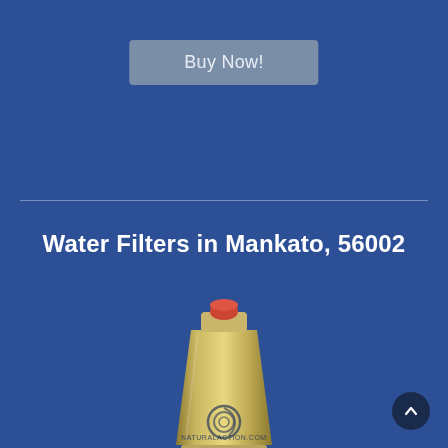Buy Now!
[Figure (photo): A metallic stainless steel water filter device with a small red cap on top, showing the NaturalAction.com logo on the body, photographed against a blue background.]
Water Filters in Mankato, 56002